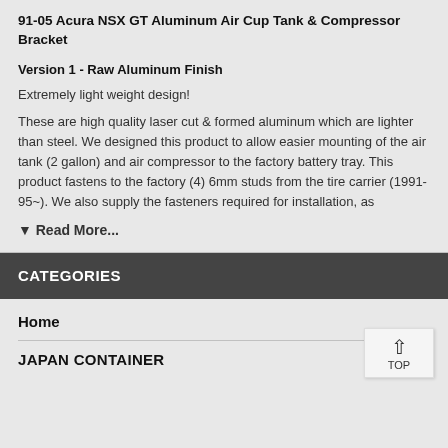91-05 Acura NSX GT Aluminum Air Cup Tank & Compressor Bracket
Version 1 - Raw Aluminum Finish
Extremely light weight design!
These are high quality laser cut & formed aluminum which are lighter than steel. We designed this product to allow easier mounting of the air tank (2 gallon) and air compressor to the factory battery tray. This product fastens to the factory (4) 6mm studs from the tire carrier (1991-95~). We also supply the fasteners required for installation, as
▼ Read More...
CATEGORIES
Home
JAPAN CONTAINER